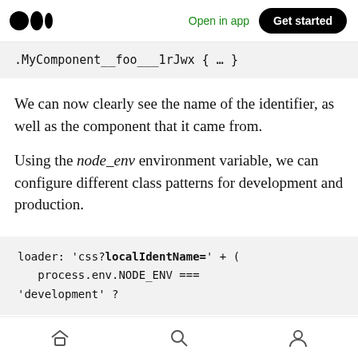Medium logo | Open in app | Get started
.MyComponent__foo___1rJwx { … }
We can now clearly see the name of the identifier, as well as the component that it came from.
Using the node_env environment variable, we can configure different class patterns for development and production.
loader: 'css?localIdentName=' + (
    process.env.NODE_ENV ===
'development' ?
Home | Search | Profile